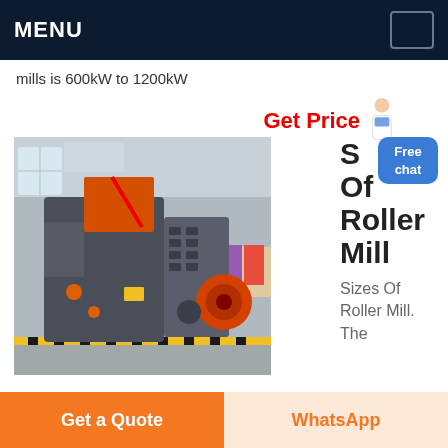MENU
mills is 600kW to 1200kW
Get Price
[Figure (photo): Large industrial roller mill / hammer mill machine photographed in a factory warehouse. The machine is dark grey with orange accents and rollers visible. Background shows factory interior with flags on the wall.]
Sizes Of Roller Mill
Sizes Of Roller Mill. The
Free chat
Get a Quote
WhatsApp